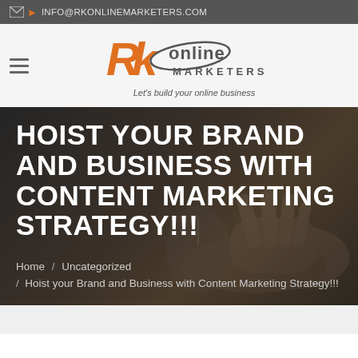INFO@RKONLINEMARKETERS.COM
[Figure (logo): RK Online Marketers logo with orange stylized RK letters and text 'Let's build your online business']
HOIST YOUR BRAND AND BUSINESS WITH CONTENT MARKETING STRATEGY!!!
Home / Uncategorized / Hoist your Brand and Business with Content Marketing Strategy!!!